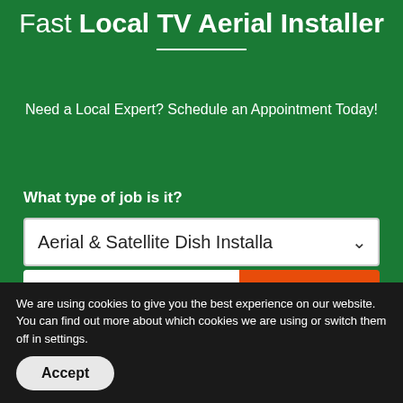Fast Local TV Aerial Installer
Need a Local Expert? Schedule an Appointment Today!
What type of job is it?
[Figure (screenshot): Dropdown select box showing 'Aerial & Satellite Dish Installa' with a down arrow]
[Figure (screenshot): Google Rating badge showing 5.0 with five gold stars, next to an orange 'Next Step >' button]
We are using cookies to give you the best experience on our website. You can find out more about which cookies we are using or switch them off in settings.
Accept